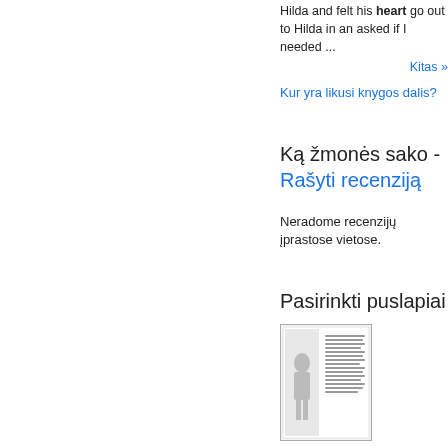Hilda and felt his heart go out to Hilda in an asked if I needed ...
Kitas »
Kur yra likusi knygos dalis?
Ką žmonės sako - Rašyti recenziją
Neradome recenzijų įprastose vietose.
Pasirinkti puslapiai
[Figure (photo): Thumbnail image of a book page with an illustration of a person and text columns]